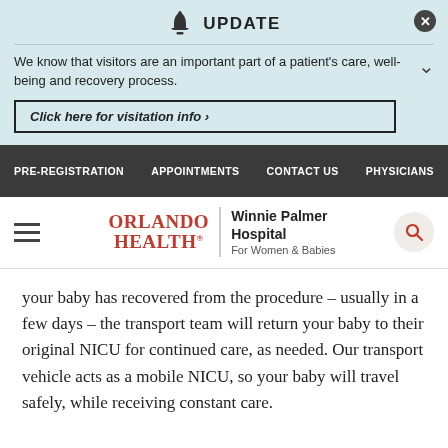UPDATE
We know that visitors are an important part of a patient's care, well-being and recovery process.
Click here for visitation info ›
PRE-REGISTRATION  APPOINTMENTS  CONTACT US  PHYSICIANS
[Figure (logo): Orlando Health Winnie Palmer Hospital For Women & Babies logo with hamburger menu and search icon]
your baby has recovered from the procedure – usually in a few days – the transport team will return your baby to their original NICU for continued care, as needed. Our transport vehicle acts as a mobile NICU, so your baby will travel safely, while receiving constant care.